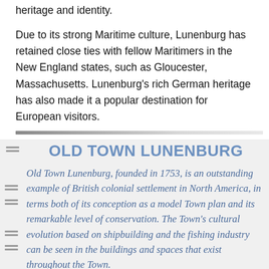heritage and identity.
Due to its strong Maritime culture, Lunenburg has retained close ties with fellow Maritimers in the New England states, such as Gloucester, Massachusetts. Lunenburg's rich German heritage has also made it a popular destination for European visitors.
OLD TOWN LUNENBURG
Old Town Lunenburg, founded in 1753, is an outstanding example of British colonial settlement in North America, in terms both of its conception as a model Town plan and its remarkable level of conservation. The Town's cultural evolution based on shipbuilding and the fishing industry can be seen in the buildings and spaces that exist throughout the Town.